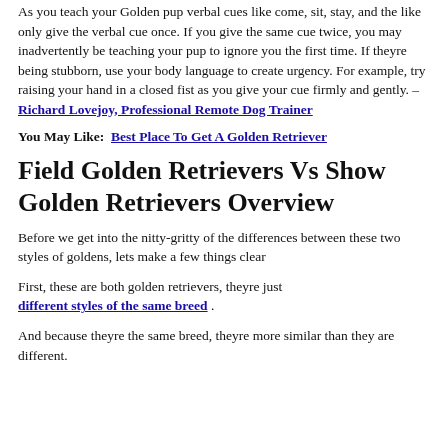As you teach your Golden pup verbal cues like come, sit, stay, and the like only give the verbal cue once. If you give the same cue twice, you may inadvertently be teaching your pup to ignore you the first time. If theyre being stubborn, use your body language to create urgency. For example, try raising your hand in a closed fist as you give your cue firmly and gently. – Richard Lovejoy, Professional Remote Dog Trainer
You May Like:  Best Place To Get A Golden Retriever
Field Golden Retrievers Vs Show Golden Retrievers Overview
Before we get into the nitty-gritty of the differences between these two styles of goldens, lets make a few things clear
First, these are both golden retrievers, theyre just different styles of the same breed .
And because theyre the same breed, theyre more similar than they are different.